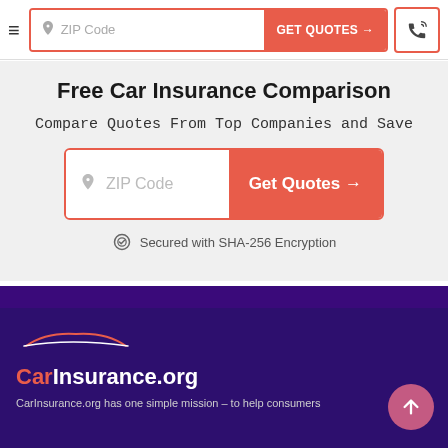≡  ZIP Code  GET QUOTES →  [phone icon]
Free Car Insurance Comparison
Compare Quotes From Top Companies and Save
[Figure (other): ZIP Code input field with Get Quotes button]
Secured with SHA-256 Encryption
[Figure (logo): CarInsurance.org logo with car outline above text on dark purple background]
CarInsurance.org has one simple mission – to help consumers